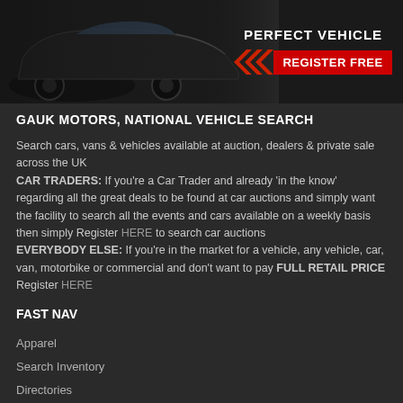[Figure (illustration): Dark banner ad showing a car on the left side and 'PERFECT VEHICLE REGISTER FREE' text with red arrows and red button on the right side]
GAUK MOTORS, NATIONAL VEHICLE SEARCH
Search cars, vans & vehicles available at auction, dealers & private sale across the UK
CAR TRADERS: If you're a Car Trader and already 'in the know' regarding all the great deals to be found at car auctions and simply want the facility to search all the events and cars available on a weekly basis then simply Register HERE to search car auctions
EVERYBODY ELSE: If you're in the market for a vehicle, any vehicle, car, van, motorbike or commercial and don't want to pay FULL RETAIL PRICE Register HERE
FAST NAV
Apparel
Search Inventory
Directories